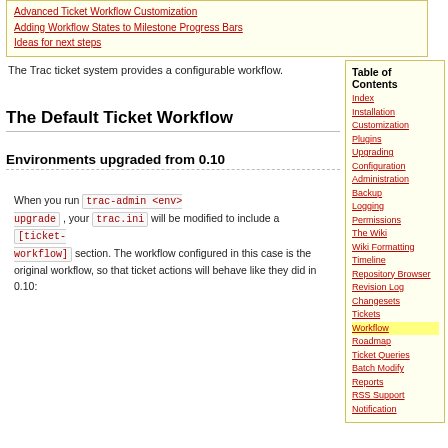Advanced Ticket Workflow Customization
Adding Workflow States to Milestone Progress Bars
Ideas for next steps
The Trac ticket system provides a configurable workflow.
The Default Ticket Workflow
Environments upgraded from 0.10
When you run trac-admin <env> upgrade , your trac.ini will be modified to include a [ticket-workflow] section. The workflow configured in this case is the original workflow, so that ticket actions will behave like they did in 0.10:
Table of Contents
Index
Installation
Customization
Plugins
Upgrading
Configuration
Administration
Backup
Logging
Permissions
The Wiki
Wiki Formatting
Timeline
Repository Browser
Revision Log
Changesets
Tickets
Workflow
Roadmap
Ticket Queries
Batch Modify
Reports
RSS Support
Notification